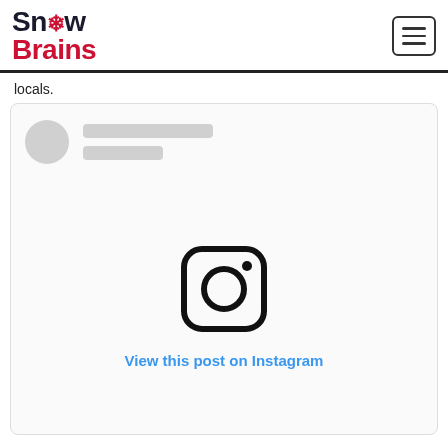SnowBrains
locals.
[Figure (screenshot): Instagram embed placeholder showing skeleton profile loader, Instagram camera icon, and 'View this post on Instagram' link in blue]